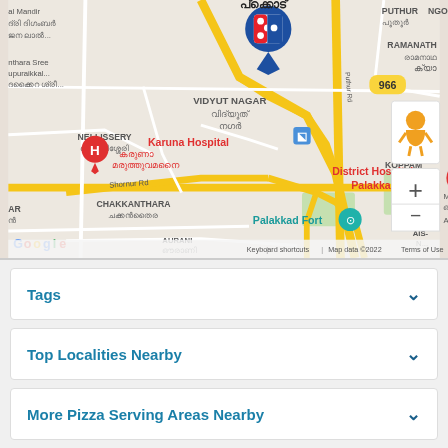[Figure (map): Google Maps screenshot showing Palakkad area with Domino's Pizza location marker, Karuna Hospital, District Hospital Palakkad, Palakkad Fort, VIDYUT NAGAR area, roads, and locality labels in English and Malayalam. Map data ©2022.]
Tags
Top Localities Nearby
More Pizza Serving Areas Nearby